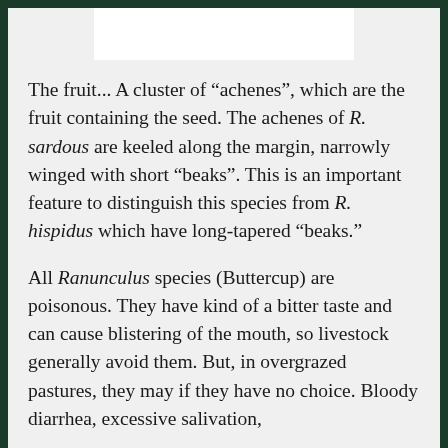[Figure (photo): White image placeholder area at top of page]
The fruit... A cluster of “achenes”, which are the fruit containing the seed. The achenes of R. sardous are keeled along the margin, narrowly winged with short “beaks”. This is an important feature to distinguish this species from R. hispidus which have long-tapered “beaks.”
All Ranunculus species (Buttercup) are poisonous. They have kind of a bitter taste and can cause blistering of the mouth, so livestock generally avoid them. But, in overgrazed pastures, they may if they have no choice. Bloody diarrhea, excessive salivation,